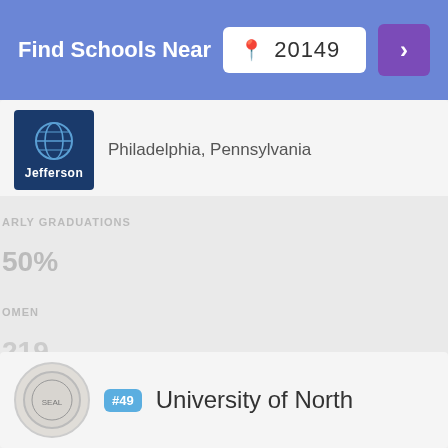Find Schools Near 20149
[Figure (logo): Jefferson University logo - dark blue square with globe and word Jefferson]
Philadelphia, Pennsylvania
ARLY GRADUATIONS
50%
OMEN
219
CIAL-ETHNIC MINORITIES*
[Figure (logo): University of North logo with circular seal]
University of North